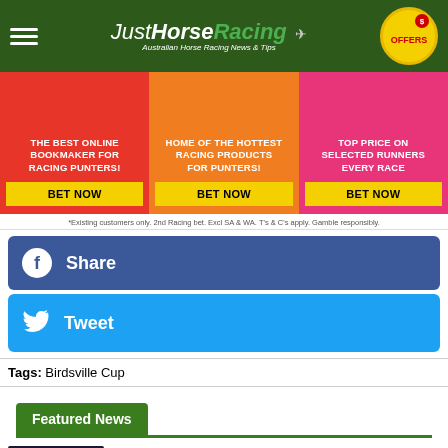JustHorseRacing — Australian Horse Racing News & Tips
[Figure (infographic): Three promotional ad boxes: red (THE BEST ONLINE BOOKMAKER FOR RACING PUNTERS! BET NOW), orange (HOME OF THE HOTTEST RACING PRODUCTS FOR PUNTERS! BET NOW), pink (TOP PRICE ON SELECTED RUNNERS EVERY RACE BET NOW)]
*Existing customers only. 2nd Racing bet. Excl SA & WA. T's & C's apply. Gamble responsibly.
Share
Tweet
Tags: Birdsville Cup
Featured News
Free Racing Bonus Bets and Offers
We take a look at the BIGGEST and BEST Free Daily Racing Offers and Betting Promotions from Australia's leading online...
Horse Racing Big Bets – Saturday's Races